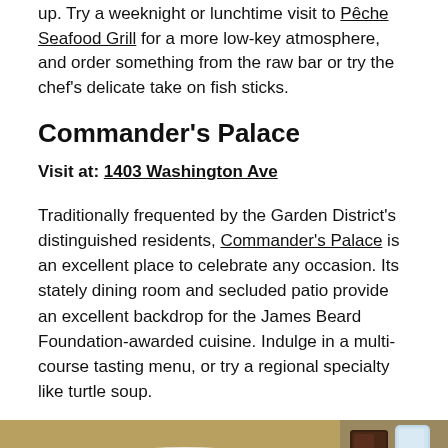up. Try a weeknight or lunchtime visit to Pêche Seafood Grill for a more low-key atmosphere, and order something from the raw bar or try the chef's delicate take on fish sticks.
Commander's Palace
Visit at: 1403 Washington Ave
Traditionally frequented by the Garden District's distinguished residents, Commander's Palace is an excellent place to celebrate any occasion. Its stately dining room and secluded patio provide an excellent backdrop for the James Beard Foundation-awarded cuisine. Indulge in a multi-course tasting menu, or try a regional specialty like turtle soup.
[Figure (photo): Photo of a baked dish in a white ramekin on a wooden board, with greens and tableware visible, taken at Commander's Palace restaurant]